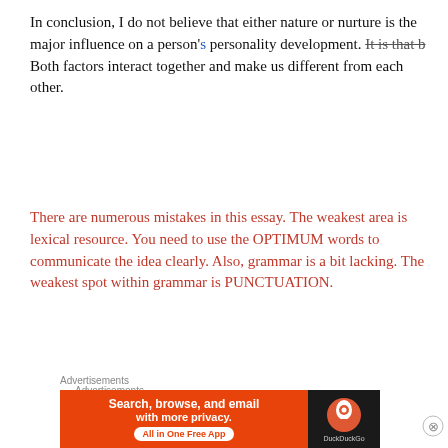In conclusion, I do not believe that either nature or nurture is the major influence on a person's personality development. It is that b Both factors interact together and make us different from each other.
There are numerous mistakes in this essay. The weakest area is lexical resource. You need to use the OPTIMUM words to communicate the idea clearly. Also, grammar is a bit lacking. The weakest spot within grammar is PUNCTUATION.
Advertisements
[Figure (other): Blue-purple gradient advertisement banner reading 'Simplified pricing for everything you need']
Advertisements
[Figure (other): DuckDuckGo advertisement: orange background with text 'Search, browse, and email with more privacy. All in One Free App' and DuckDuckGo logo on dark right panel]